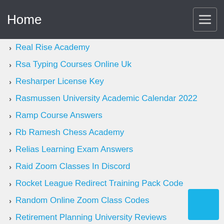Home
Real Rise Academy
Rsa Typing Courses Online Uk
Resharper License Key
Rasmussen University Academic Calendar 2022
Ramp Course Answers
Rb Ramesh Chess Academy
Relias Learning Exam Answers
Raid Zoom Classes In Discord
Rocket League Redirect Training Pack Code
Random Online Zoom Class Codes
Retirement Planning University Reviews
Religion Courses